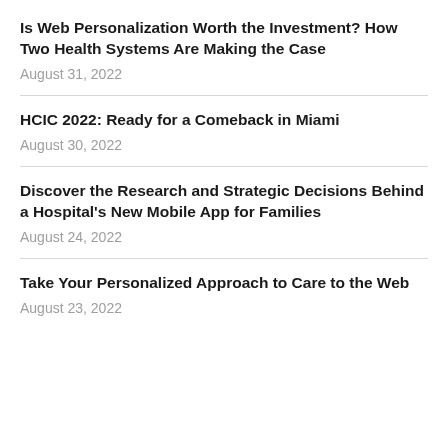Is Web Personalization Worth the Investment? How Two Health Systems Are Making the Case
August 31, 2022
HCIC 2022: Ready for a Comeback in Miami
August 30, 2022
Discover the Research and Strategic Decisions Behind a Hospital's New Mobile App for Families
August 24, 2022
Take Your Personalized Approach to Care to the Web
August 23, 2022